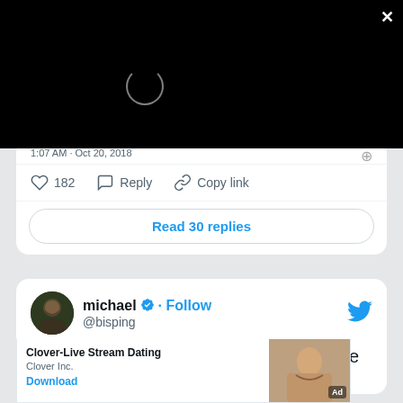[Figure (screenshot): Black video player overlay with loading spinner circle, X close button in top right corner]
1:07 AM · Oct 20, 2018
182  Reply  Copy link
Read 30 replies
michael @bisping · Follow
They've been negotiating this fight for the last
Clover-Live Stream Dating
Clover Inc.
Download
Ad